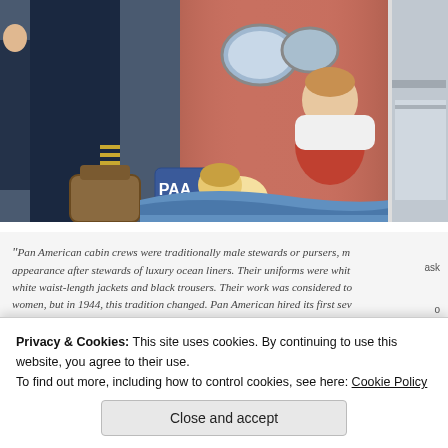[Figure (photo): Vintage Pan American Airlines cabin scene showing a pilot or steward standing next to a sleeping child and woman passenger in a sleeper berth, with a PAA branded bag visible. A second photo partially visible on the right shows an aircraft exterior.]
“Pan American cabin crews were traditionally male stewards or pursers, m... appearance after stewards of luxury ocean liners. Their uniforms were whit... white waist-length jackets and black trousers. Their work was considered to... women, but in 1944, this tradition changed. Pan American hired its first sev...
Privacy & Cookies: This site uses cookies. By continuing to use this website, you agree to their use.
To find out more, including how to control cookies, see here: Cookie Policy
Close and accept